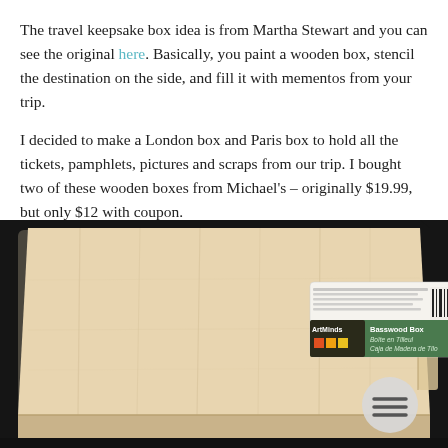The travel keepsake box idea is from Martha Stewart and you can see the original here. Basically, you paint a wooden box, stencil the destination on the side, and fill it with mementos from your trip.
I decided to make a London box and Paris box to hold all the tickets, pamphlets, pictures and scraps from our trip. I bought two of these wooden boxes from Michael's – originally $19.99, but only $12 with coupon.
[Figure (photo): A wooden keepsake box (Basswood Box / Boîte en Tilleul / Caja de Madera de Tilo) from ArtMinds brand at Michael's craft store, photographed from above at an angle on a dark surface. The box has a natural light wood grain finish. A product label with a barcode and a green/brown branded tag is visible on the box top. A circular grey menu button icon overlays the bottom right of the image.]